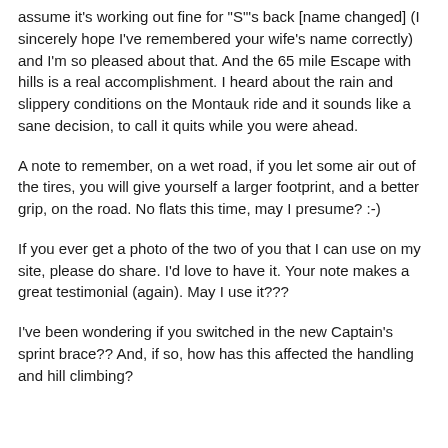assume it's working out fine for "S"'s back [name changed] (I sincerely hope I've remembered your wife's name correctly) and I'm so pleased about that. And the 65 mile Escape with hills is a real accomplishment. I heard about the rain and slippery conditions on the Montauk ride and it sounds like a sane decision, to call it quits while you were ahead.
A note to remember, on a wet road, if you let some air out of the tires, you will give yourself a larger footprint, and a better grip, on the road. No flats this time, may I presume? :-)
If you ever get a photo of the two of you that I can use on my site, please do share. I'd love to have it. Your note makes a great testimonial (again). May I use it???
I've been wondering if you switched in the new Captain's sprint brace?? And, if so, how has this affected the handling and hill climbing?